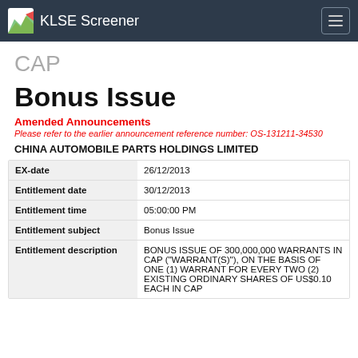KLSE Screener
CAP
Bonus Issue
Amended Announcements
Please refer to the earlier announcement reference number: OS-131211-34530
CHINA AUTOMOBILE PARTS HOLDINGS LIMITED
| Field | Value |
| --- | --- |
| EX-date | 26/12/2013 |
| Entitlement date | 30/12/2013 |
| Entitlement time | 05:00:00 PM |
| Entitlement subject | Bonus Issue |
| Entitlement description | BONUS ISSUE OF 300,000,000 WARRANTS IN CAP ("WARRANT(S)"), ON THE BASIS OF ONE (1) WARRANT FOR EVERY TWO (2) EXISTING ORDINARY SHARES OF US$0.10 EACH IN CAP |